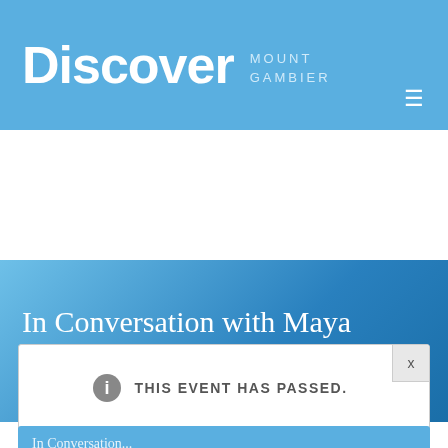Discover Mount Gambier
In Conversation with Maya Linnell – Magpie's Bend
THIS EVENT HAS PASSED.
In Conversation...